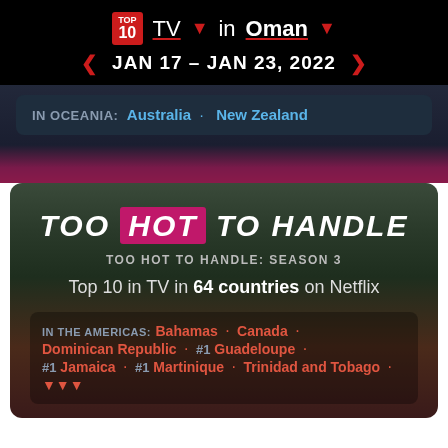TOP 10 TV in Oman
JAN 17 - JAN 23, 2022
IN OCEANIA: Australia · New Zealand
TOO HOT TO HANDLE
TOO HOT TO HANDLE: SEASON 3
Top 10 in TV in 64 countries on Netflix
IN THE AMERICAS: Bahamas · Canada · Dominican Republic · #1 Guadeloupe · #1 Jamaica · #1 Martinique · Trinidad and Tobago ·